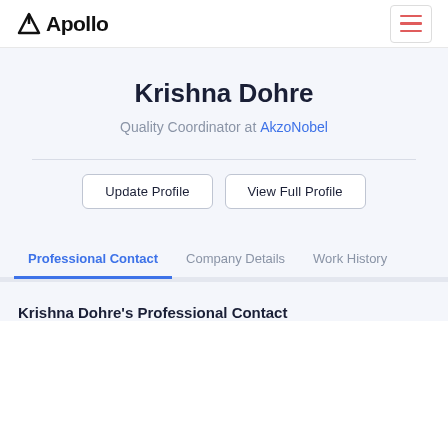Apollo
Krishna Dohre
Quality Coordinator at AkzoNobel
Update Profile | View Full Profile
Professional Contact  Company Details  Work History
Krishna Dohre's Professional Contact